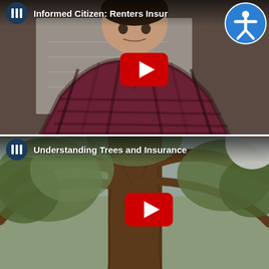[Figure (screenshot): YouTube video thumbnail for 'Informed Citizen: Renters Insurance' showing a man in a plaid shirt with a YouTube play button and an accessibility icon in the top right corner.]
[Figure (screenshot): YouTube video thumbnail for 'Understanding Trees and Insurance' showing a large tree trunk with branches and a YouTube play button.]